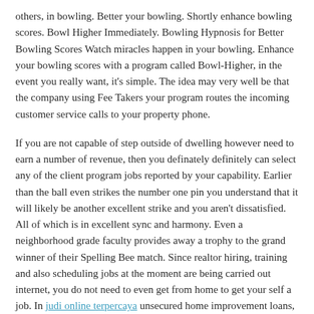others, in bowling. Better your bowling. Shortly enhance bowling scores. Bowl Higher Immediately. Bowling Hypnosis for Better Bowling Scores Watch miracles happen in your bowling. Enhance your bowling scores with a program called Bowl-Higher, in the event you really want, it's simple. The idea may very well be that the company using Fee Takers your program routes the incoming customer service calls to your property phone.
If you are not capable of step outside of dwelling however need to earn a number of revenue, then you definately definitely can select any of the client program jobs reported by your capability. Earlier than the ball even strikes the number one pin you understand that it will likely be another excellent strike and you aren't dissatisfied. All of which is in excellent sync and harmony. Even a neighborhood grade faculty provides away a trophy to the grand winner of their Spelling Bee match. Since realtor hiring, training and also scheduling jobs at the moment are being carried out internet, you do not need to even get from home to get your self a job. In judi online terpercaya unsecured home improvement loans, the person borrower whichever prepared or even towards your will does not require to give any collateral for the mortgage quantity. New York Conditions specifies that may customer support earn a living from home job options have enhancing in United states of america.
The principle advantage of this work is that it provides revenue that will stay-at-